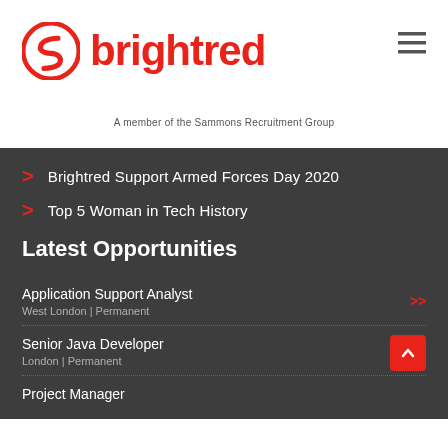[Figure (logo): Brightred logo with red circular S icon and red bold text 'brightred', tagline 'A member of the Sammons Recruitment Group']
Brightred Support Armed Forces Day 2020
Top 5 Woman in Tech History
Latest Opportunities
Application Support Analyst
West London | Permanent
Senior Java Developer
London | Permanent
Project Manager